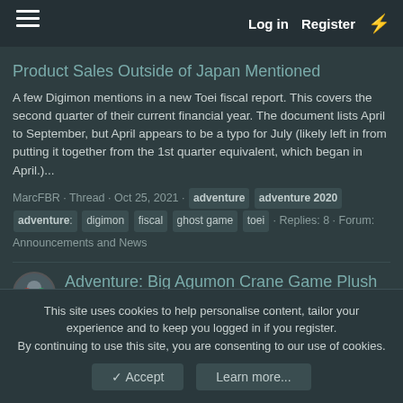Log in  Register
Product Sales Outside of Japan Mentioned
A few Digimon mentions in a new Toei fiscal report. This covers the second quarter of their current financial year. The document lists April to September, but April appears to be a typo for July (likely left in from putting it together from the 1st quarter equivalent, which began in April.)...
MarcFBR · Thread · Oct 25, 2021 · adventure  adventure 2020  adventure  digimon  fiscal  ghost game  toei  · Replies: 8 · Forum: Announcements and News
Adventure: Big Agumon Crane Game Plush
A new Digimon Adventure: plush! This time it's a big 'mecha size' Agumon plush. This big Agumon plush is about 12.6 inches tall. These are showing up October 19th as prizes at crane games (and other games of skill) at arcades in Japan. It's exclusive to
This site uses cookies to help personalise content, tailor your experience and to keep you logged in if you register.
By continuing to use this site, you are consenting to our use of cookies.
✓ Accept    Learn more...